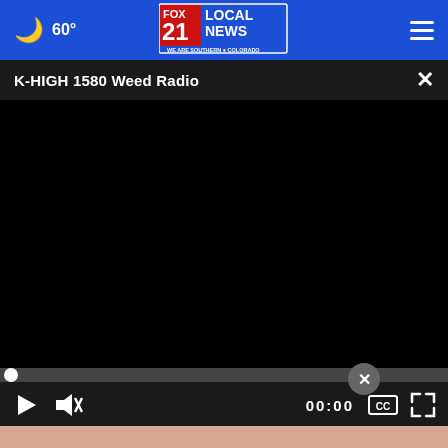60°  FOX 21 LOCAL NEWS — WE ARE SOUTHERN COLORADO
K-HIGH 1580 Weed Radio
[Figure (screenshot): Black video player area with progress bar at bottom showing 0 seconds elapsed (00:00) and playback controls including play button, mute button, closed captions, and fullscreen icons.]
[Figure (advertisement): Ad banner with light blue background showing 'BELONGING BEGINS WITH US' text and Ad Council logo on right side, displayed over a skin-toned background image.]